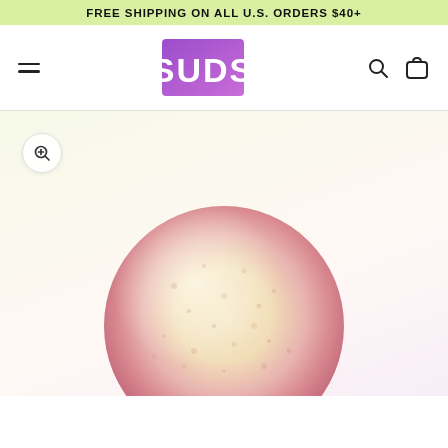FREE SHIPPING ON ALL U.S. ORDERS $40+
[Figure (logo): SUDS brand logo: white bold text on purple-to-pink gradient rectangle background]
[Figure (photo): Close-up photo of a round bath bomb with pink bottom and cream/yellow top, textured surface]